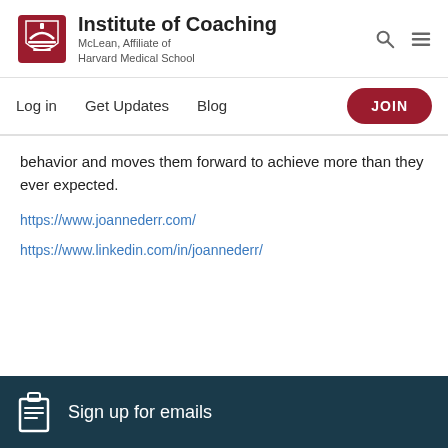Institute of Coaching — McLean, Affiliate of Harvard Medical School
Log in   Get Updates   Blog
behavior and moves them forward to achieve more than they ever expected.
https://www.joannederr.com/
https://www.linkedin.com/in/joannederr/
Sign up for emails